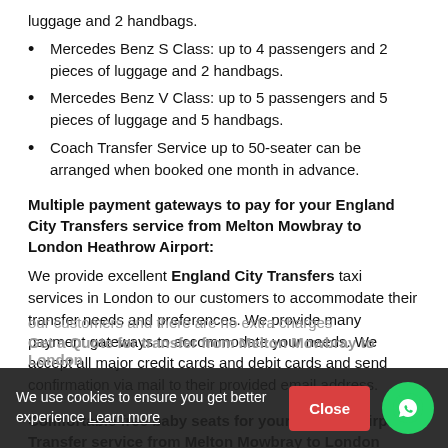luggage and 2 handbags.
Mercedes Benz S Class: up to 4 passengers and 2 pieces of luggage and 2 handbags.
Mercedes Benz V Class: up to 5 passengers and 5 pieces of luggage and 5 handbags.
Coach Transfer Service up to 50-seater can be arranged when booked one month in advance.
Multiple payment gateways to pay for your England City Transfers service from Melton Mowbray to London Heathrow Airport:
We provide excellent England City Transfers taxi services in London to our customers to accommodate their transfer needs and preferences. We provide many payment gateways to accommodate your needs. We accept all major credit cards and debit cards and send confirmation via mail to their provided email address.
Comfortable free baby seats for your England Airport Transfer service from Melton Mowbray to London Heathrow Airport
We also provide comfortable baby seats and booster seats our customers and there are no extra charges
Get a Quote for transfer from Melton Mowbray to London